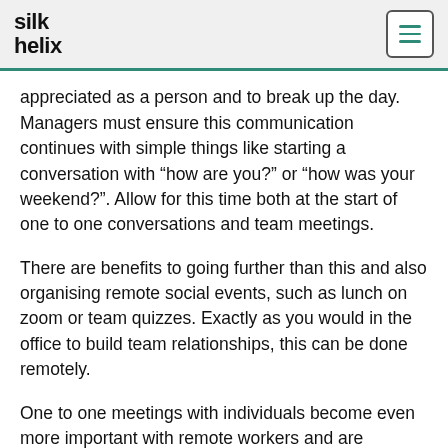silk helix
appreciated as a person and to break up the day. Managers must ensure this communication continues with simple things like starting a conversation with “how are you?” or “how was your weekend?”. Allow for this time both at the start of one to one conversations and team meetings.
There are benefits to going further than this and also organising remote social events, such as lunch on zoom or team quizzes. Exactly as you would in the office to build team relationships, this can be done remotely.
One to one meetings with individuals become even more important with remote workers and are possibly required more often. This ensures the individual knows there is a set time allocated to them where they can raise any issues and discuss progress. This will also